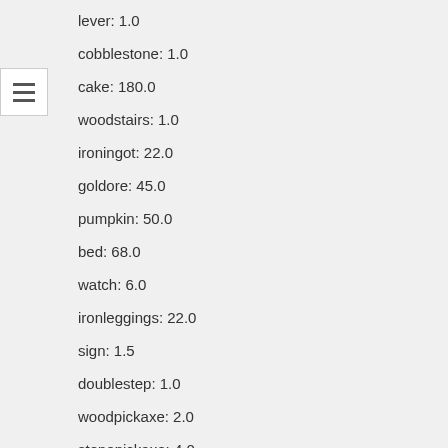lever: 1.0
cobblestone: 1.0
cake: 180.0
woodstairs: 1.0
ironingot: 22.0
goldore: 45.0
pumpkin: 50.0
bed: 68.0
watch: 6.0
ironleggings: 22.0
sign: 1.5
doublestep: 1.0
woodpickaxe: 2.0
stonepickaxe: 4.0
chainmailboots: 30.0
diamondleggings: 1500.0
cookedfish: 7.0
saddle: 100.0